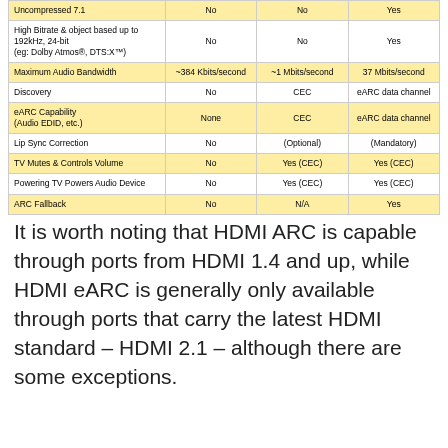|  | No ARC | ARC | eARC |
| --- | --- | --- | --- |
| Uncompressed 7.1 | No | No | Yes |
| High Bitrate & object based up to 192kHz, 24-bit (eg: Dolby Atmos®, DTS:X™) | No | No | Yes |
| Maximum Audio Bandwidth | ~384 Kbits/second | ~1 Mbits/second | 37 Mbits/second |
| Discovery | No | CEC | eARC data channel |
| eARC Capability (Audio EDID, etc.) | None | CEC | eARC data channel |
| Lip Sync Correction | No | (Optional) | (Mandatory) |
| TV Mutes & Controls Volume | No | Yes (CEC) | Yes (CEC) |
| Powering TV Powers Audio Device | No | Yes (CEC) | Yes (CEC) |
| ARC Fallback | No | N/A | Yes |
It is worth noting that HDMI ARC is capable through ports from HDMI 1.4 and up, while HDMI eARC is generally only available through ports that carry the latest HDMI standard – HDMI 2.1 – although there are some exceptions.